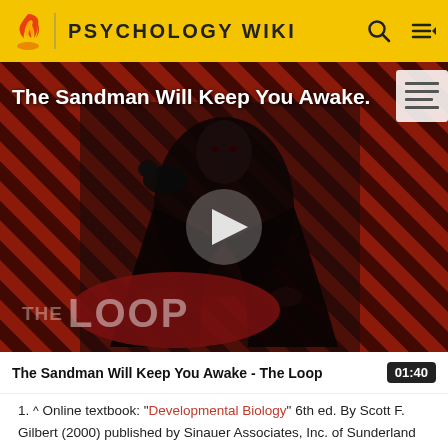PSYCHOLOGY WIKI
[Figure (screenshot): Video thumbnail showing 'The Sandman Will Keep You Awake - The Loop' with a dark figure holding a raven, diagonal red and black stripes background, play button in center, 'THE LOOP' text at bottom left.]
The Sandman Will Keep You Awake - The Loop  01:40
^ Online textbook: "Developmental Biology" 6th ed. By Scott F. Gilbert (2000) published by Sinauer Associates, Inc. of Sunderland (MA).